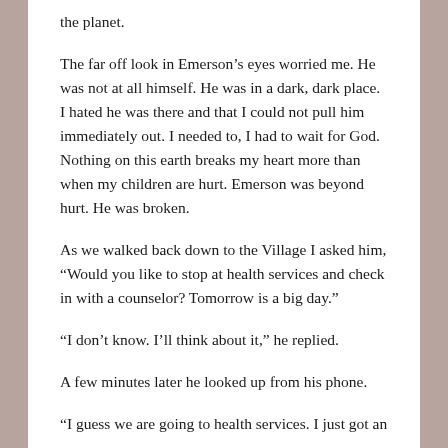the planet.
The far off look in Emerson’s eyes worried me. He was not at all himself. He was in a dark, dark place. I hated he was there and that I could not pull him immediately out. I needed to, I had to wait for God. Nothing on this earth breaks my heart more than when my children are hurt. Emerson was beyond hurt. He was broken.
As we walked back down to the Village I asked him, “Would you like to stop at health services and check in with a counselor? Tomorrow is a big day.”
“I don’t know. I’ll think about it,” he replied.
A few minutes later he looked up from his phone.
“I guess we are going to health services. I just got an